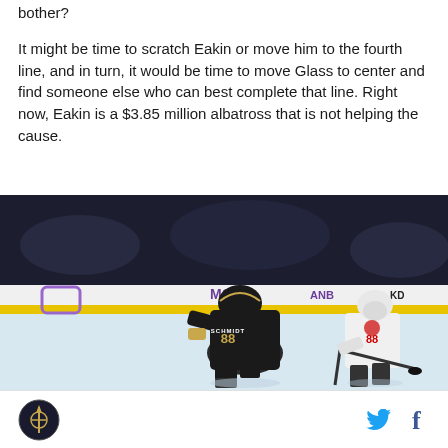bother?
It might be time to scratch Eakin or move him to the fourth line, and in turn, it would be time to move Glass to center and find someone else who can best complete that line. Right now, Eakin is a $3.85 million albatross that is not helping the cause.
[Figure (photo): Hockey player wearing Vegas Golden Knights jersey number 88 (Schmidt) on ice, with a Chicago Blackhawks player in the background. Arena boards show MGM and other sponsor logos.]
Logo icon and social media icons (Twitter, Facebook)